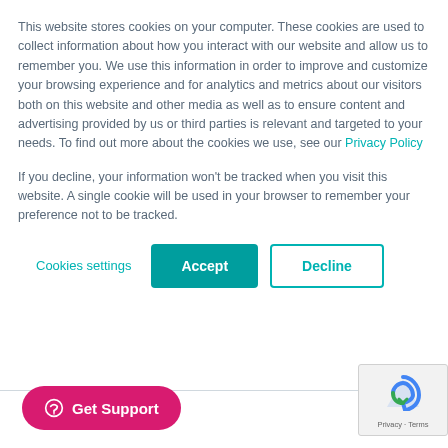This website stores cookies on your computer. These cookies are used to collect information about how you interact with our website and allow us to remember you. We use this information in order to improve and customize your browsing experience and for analytics and metrics about our visitors both on this website and other media as well as to ensure content and advertising provided by us or third parties is relevant and targeted to your needs. To find out more about the cookies we use, see our Privacy Policy
If you decline, your information won't be tracked when you visit this website. A single cookie will be used in your browser to remember your preference not to be tracked.
Cookies settings | Accept | Decline
[Figure (screenshot): Get Support pink rounded button with chat bubble icon at bottom left, and reCAPTCHA badge at bottom right]